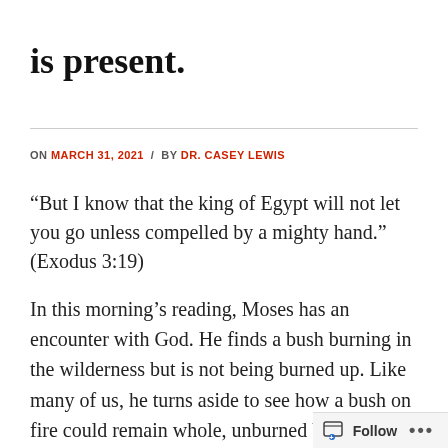is present.
ON MARCH 31, 2021 / BY DR. CASEY LEWIS
“But I know that the king of Egypt will not let you go unless compelled by a mighty hand.” (Exodus 3:19)
In this morning’s reading, Moses has an encounter with God. He finds a bush burning in the wilderness but is not being burned up. Like many of us, he turns aside to see how a bush on fire could remain whole, unburned by the fire that should consume it. Upon approaching the bush, a voice, the voice of God, emanates from the bush warning Moses that he has entered a holy space
Follow ...